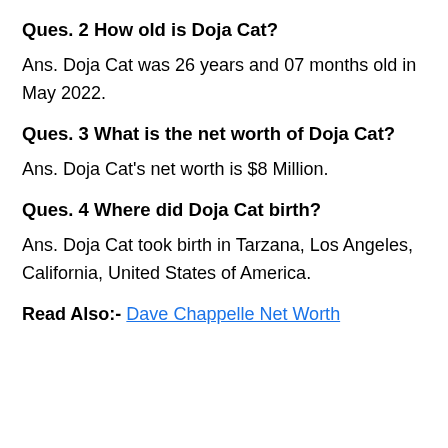Ques. 2 How old is Doja Cat?
Ans. Doja Cat was 26 years and 07 months old in May 2022.
Ques. 3 What is the net worth of Doja Cat?
Ans. Doja Cat's net worth is $8 Million.
Ques. 4 Where did Doja Cat birth?
Ans. Doja Cat took birth in Tarzana, Los Angeles, California, United States of America.
Read Also:- Dave Chappelle Net Worth